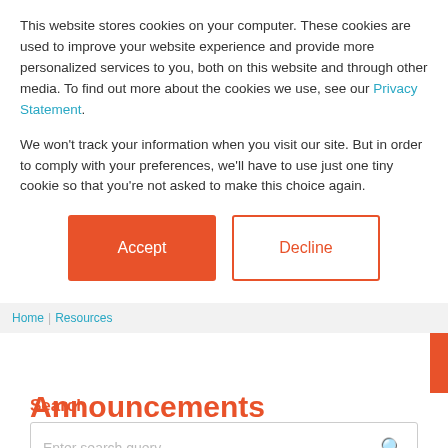This website stores cookies on your computer. These cookies are used to improve your website experience and provide more personalized services to you, both on this website and through other media. To find out more about the cookies we use, see our Privacy Statement.
We won't track your information when you visit our site. But in order to comply with your preferences, we'll have to use just one tiny cookie so that you're not asked to make this choice again.
Accept | Decline
Home | Resources
Announcements
Search
Enter search query...